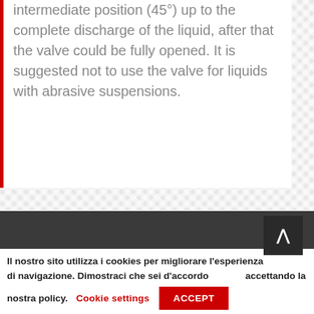intermediate position (45°) up to the complete discharge of the liquid, after that the valve could be fully opened. It is suggested not to use the valve for liquids with abrasive suspensions.
Il nostro sito utilizza i cookies per migliorare l'esperienza di navigazione. Dimostraci che sei d'accordo accettando la nostra policy. Cookie settings ACCEPT